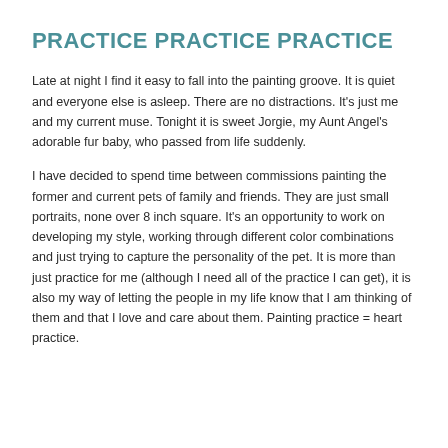PRACTICE PRACTICE PRACTICE
Late at night I find it easy to fall into the painting groove. It is quiet and everyone else is asleep. There are no distractions. It's just me and my current muse. Tonight it is sweet Jorgie, my Aunt Angel's adorable fur baby, who passed from life suddenly.
I have decided to spend time between commissions painting the former and current pets of family and friends. They are just small portraits, none over 8 inch square. It's an opportunity to work on developing my style, working through different color combinations and just trying to capture the personality of the pet. It is more than just practice for me (although I need all of the practice I can get), it is also my way of letting the people in my life know that I am thinking of them and that I love and care about them. Painting practice = heart practice.